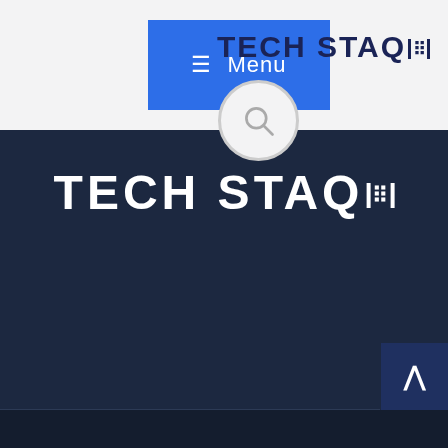≡ Menu
[Figure (logo): TECH STAQ logo in dark navy bold text in the header]
[Figure (logo): TECH STAQ large white bold text logo on dark navy background]